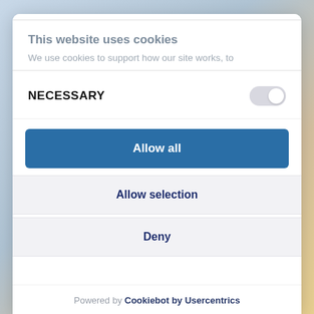This website uses cookies
We use cookies to support how our site works, to
NECESSARY
Allow all
Allow selection
Deny
Powered by Cookiebot by Usercentrics